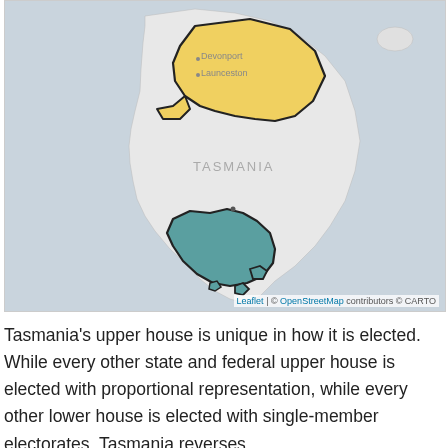[Figure (map): Map of Tasmania showing electoral districts. Northern region highlighted in yellow, southern region near Hobart highlighted in teal/blue-green. Cities Devonport and Launceston labeled. 'TASMANIA' label in center. Attribution: Leaflet | © OpenStreetMap contributors © CARTO]
Tasmania's upper house is unique in how it is elected. While every other state and federal upper house is elected with proportional representation, while every other lower house is elected with single-member electorates, Tasmania reverses